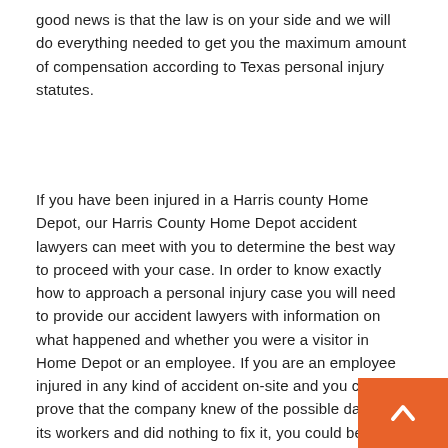good news is that the law is on your side and we will do everything needed to get you the maximum amount of compensation according to Texas personal injury statutes.
If you have been injured in a Harris county Home Depot, our Harris County Home Depot accident lawyers can meet with you to determine the best way to proceed with your case. In order to know exactly how to approach a personal injury case you will need to provide our accident lawyers with information on what happened and whether you were a visitor in Home Depot or an employee. If you are an employee injured in any kind of accident on-site and you can prove that the company knew of the possible danger to its workers and did nothing to fix it, you could be eligible to receive compensation for your injury as well as time missed from work.